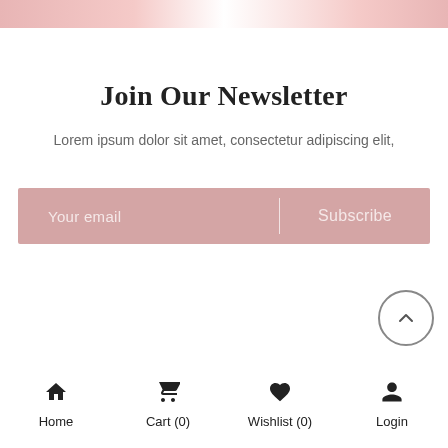[Figure (photo): Top decorative image strip with pink/rose tones]
Join Our Newsletter
Lorem ipsum dolor sit amet, consectetur adipiscing elit,
[Figure (infographic): Pink email subscription bar with 'Your email' placeholder input and 'Subscribe' button, separated by a vertical divider]
[Figure (illustration): Circular scroll-to-top button with upward chevron arrow]
Home  Cart (0)  Wishlist (0)  Login